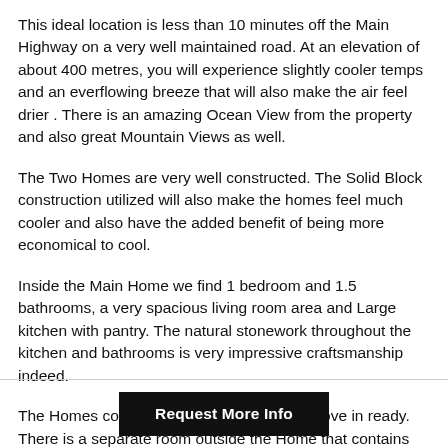This ideal location is less than 10 minutes off the Main Highway on a very well maintained road. At an elevation of about 400 metres, you will experience slightly cooler temps and an everflowing breeze that will also make the air feel drier . There is an amazing Ocean View from the property and also great Mountain Views as well.
The Two Homes are very well constructed. The Solid Block construction utilized will also make the homes feel much cooler and also have the added benefit of being more economical to cool.
Inside the Main Home we find 1 bedroom and 1.5 bathrooms, a very spacious living room area and Large kitchen with pantry. The natural stonework throughout the kitchen and bathrooms is very impressive craftsmanship indeed.
The Homes comes fully furnished and are move in ready. There is a separate room outside the Home that contains the Washer and Dryer plus the water filtration system.
The Home sits on almost 6.5 acres of gradual sloping land. The
Request More Info